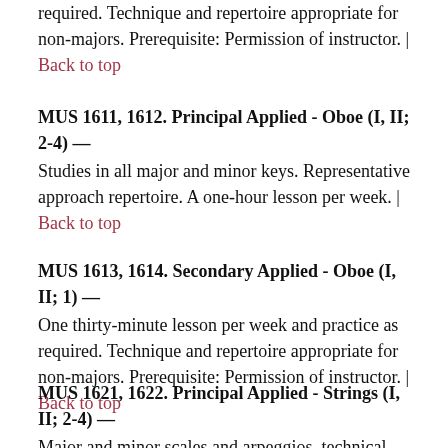required. Technique and repertoire appropriate for non-majors. Prerequisite: Permission of instructor. | Back to top
MUS 1611, 1612. Principal Applied - Oboe (I, II; 2-4) —
Studies in all major and minor keys. Representative approach repertoire. A one-hour lesson per week. | Back to top
MUS 1613, 1614. Secondary Applied - Oboe (I, II; 1) —
One thirty-minute lesson per week and practice as required. Technique and repertoire appropriate for non-majors. Prerequisite: Permission of instructor. | Back to top
MUS 1621, 1622. Principal Applied - Strings (I, II; 2-4) —
Major and minor scales and arpeggios, technical studies of Sevick, Wohlfart, Kayser, Mazas or Donte, and selected works from the literature of endollo. A one-hour...